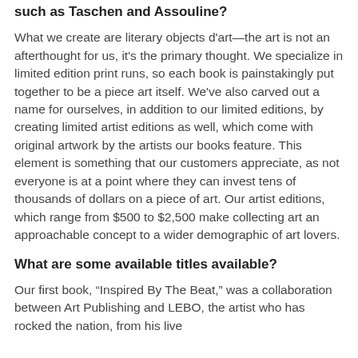such as Taschen and Assouline?
What we create are literary objects d'art—the art is not an afterthought for us, it's the primary thought. We specialize in limited edition print runs, so each book is painstakingly put together to be a piece art itself. We've also carved out a name for ourselves, in addition to our limited editions, by creating limited artist editions as well, which come with original artwork by the artists our books feature. This element is something that our customers appreciate, as not everyone is at a point where they can invest tens of thousands of dollars on a piece of art. Our artist editions, which range from $500 to $2,500 make collecting art an approachable concept to a wider demographic of art lovers.
What are some available titles available?
Our first book, “Inspired By The Beat,” was a collaboration between Art Publishing and LEBO, the artist who has rocked the nation, from his live